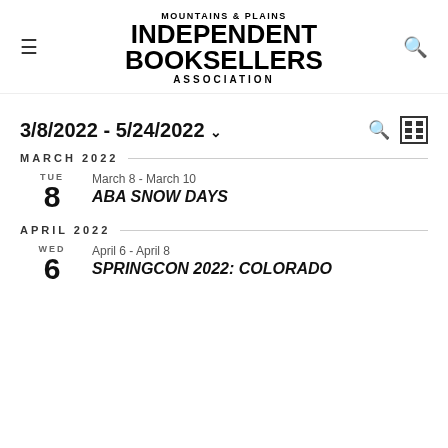Mountains & Plains Independent Booksellers Association
3/8/2022 - 5/24/2022
MARCH 2022
TUE 8 | March 8 - March 10 | ABA SNOW DAYS
APRIL 2022
WED 6 | April 6 - April 8 | SPRINGCON 2022: COLORADO